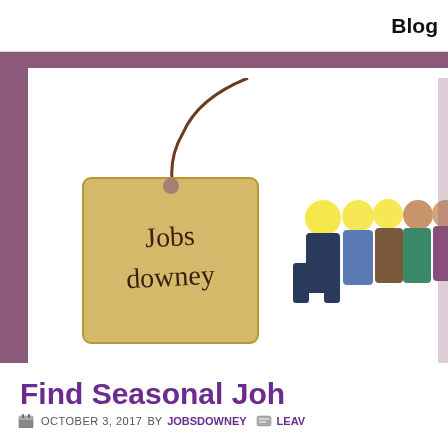Blog
[Figure (illustration): Jobs Downey website banner. Left side shows a tag label with handwritten text 'Jobs downey' tied with a brown string. Right side shows a group of diverse workers including construction workers in yellow hard hats, office workers, and students standing together on a white background, overlaid on a mauve/purple band.]
Find Seasonal Joh
OCTOBER 3, 2017 BY JOBSDOWNEY   LEAV